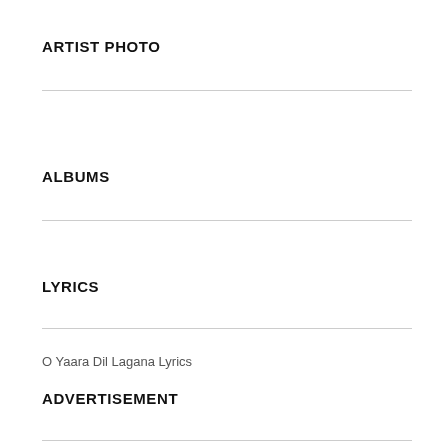ARTIST PHOTO
ALBUMS
LYRICS
O Yaara Dil Lagana Lyrics
ADVERTISEMENT